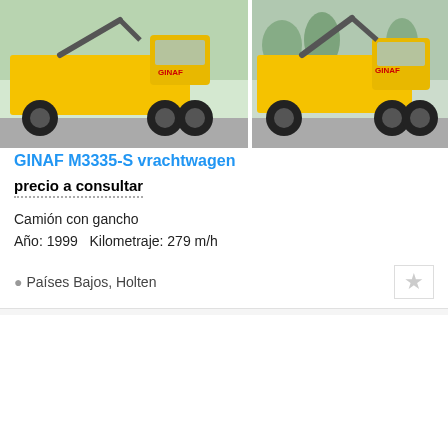[Figure (photo): Two photos of a yellow GINAF M3335-S hook truck side by side]
GINAF M3335-S vrachtwagen
precio a consultar
Camión con gancho
Año: 1999   Kilometraje: 279 m/h
Países Bajos, Holten
[Figure (photo): Photo of a blue DAF tipper truck with BAS World trusted dealer badge and video indicator (22 photos)]
[Figure (photo): Photo of a white tipper truck with BAS World logo]